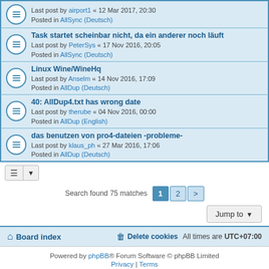Last post by airport1 « 12 Mar 2017, 20:30 Posted in AllSync (Deutsch)
Task startet scheinbar nicht, da ein anderer noch läuft
Last post by PeterSys « 17 Nov 2016, 20:05
Posted in AllSync (Deutsch)
Linux Wine/WineHq
Last post by Anselm « 14 Nov 2016, 17:09
Posted in AllDup (Deutsch)
40: AllDup4.txt has wrong date
Last post by therube « 04 Nov 2016, 00:00
Posted in AllDup (English)
das benutzen von pro4-dateien -probleme-
Last post by klaus_ph « 27 Mar 2016, 17:06
Posted in AllDup (Deutsch)
Search found 75 matches  1  2  >
Jump to
Board index   Delete cookies   All times are UTC+07:00
Powered by phpBB® Forum Software © phpBB Limited
Privacy | Terms